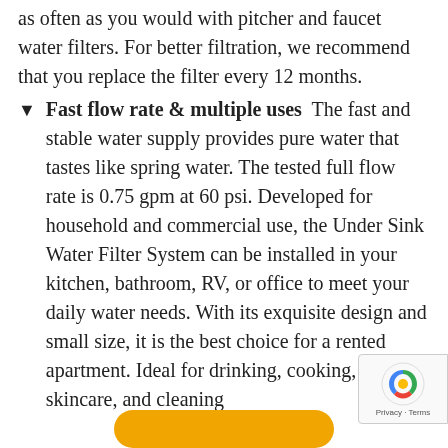as often as you would with pitcher and faucet water filters. For better filtration, we recommend that you replace the filter every 12 months.
Fast flow rate & multiple uses  The fast and stable water supply provides pure water that tastes like spring water. The tested full flow rate is 0.75 gpm at 60 psi. Developed for household and commercial use, the Under Sink Water Filter System can be installed in your kitchen, bathroom, RV, or office to meet your daily water needs. With its exquisite design and small size, it is the best choice for a rented apartment. Ideal for drinking, cooking, skincare, and cleaning